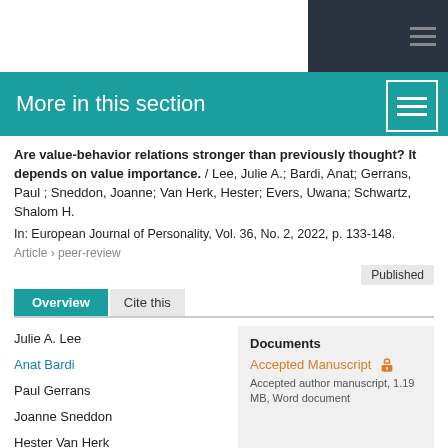More in this section
Are value-behavior relations stronger than previously thought? It depends on value importance. / Lee, Julie A.; Bardi, Anat; Gerrans, Paul ; Sneddon, Joanne; Van Herk, Hester; Evers, Uwana; Schwartz, Shalom H.
In: European Journal of Personality, Vol. 36, No. 2, 2022, p. 133-148.
Article › peer-review
Published
Overview   Cite this
Julie A. Lee
Anat Bardi
Paul Gerrans
Joanne Sneddon
Hester Van Herk
Uwana Evers
Shalom H. Schwartz
Documents
Accepted Manuscript
Accepted author manuscript, 1.19 MB, Word document
Social and Affective...